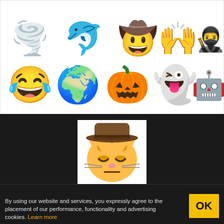[Figure (illustration): Grid of emoji icons on white background: row 1 has tornado, dolphin, cowboy hat face, raised hands, dark figure; row 2 has crying cowboy face, earth with cowboy hat, pumpkin with cowboy hat, ghost with cowboy hat, robot with cowboy hat]
[Figure (illustration): Single large cat emoji with cowboy hat, sad/tired expression, on white background with dark caption area saying 'This cat looks like he plays bassoon in a jazz band.']
This cat looks like he plays bassoon in a jazz band.
By using our website and services, you expressly agree to the placement of our performance, functionality and advertising cookies. Learn more